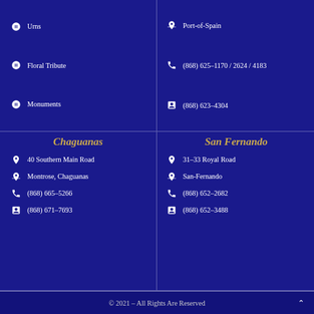Urns
Floral Tribute
Monuments
Port-of-Spain
(868) 625-1170 / 2624 / 4183
(868) 623-4304
Chaguanas
40 Southern Main Road
Montrose, Chaguanas
(868) 665-5266
(868) 671-7693
San Fernando
31-33 Royal Road
San-Fernando
(868) 652-2682
(868) 652-3488
© 2021 – All Rights Are Reserved